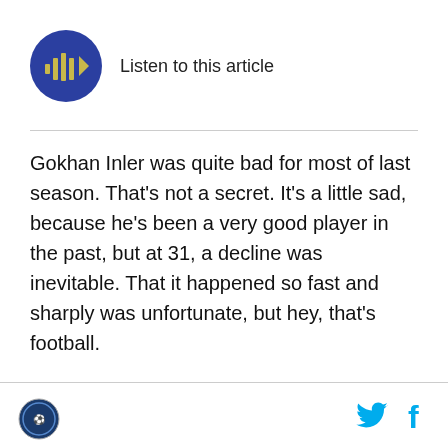[Figure (other): Blue circular audio player button with sound wave bars and play arrow icon, with text 'Listen to this article']
Gokhan Inler was quite bad for most of last season. That's not a secret. It's a little sad, because he's been a very good player in the past, but at 31, a decline was inevitable. That it happened so fast and sharply was unfortunate, but hey, that's football.
[Figure (logo): Small circular site logo at bottom left footer]
[Figure (other): Twitter bird icon and Facebook f icon in cyan/blue at bottom right footer]